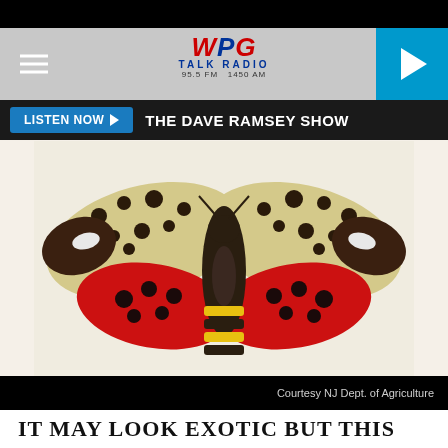[Figure (logo): WPG Talk Radio logo - 95.5 FM 1450 AM with blue and red text]
LISTEN NOW  THE DAVE RAMSEY SHOW
[Figure (photo): Spotted lanternfly with wings spread open showing spotted tan forewings and red hindwings with black spots, yellow and black abdomen, on white background]
Courtesy NJ Dept. of Agriculture
IT MAY LOOK EXOTIC BUT THIS